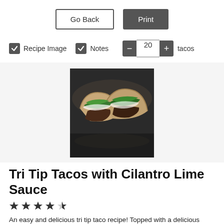[Figure (screenshot): Go Back and Print buttons UI controls]
[Figure (screenshot): Recipe Image checkbox checked, Notes checkbox checked, quantity control showing 20 tacos]
[Figure (photo): Photo of Tri Tip Tacos with Cilantro Lime Sauce - tortillas filled with meat and greens topped with white sauce]
Tri Tip Tacos with Cilantro Lime Sauce
[Figure (other): 4.5 star rating shown with filled and half-filled stars]
An easy and delicious tri tip taco recipe! Topped with a delicious cilantro lime sauce...